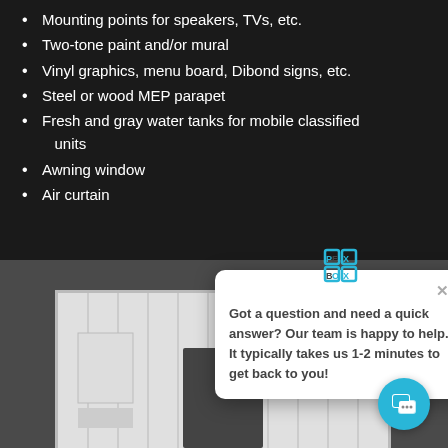Mounting points for speakers, TVs, etc.
Two-tone paint and/or mural
Vinyl graphics, menu board, Dibond signs, etc.
Steel or wood MEP parapet
Fresh and gray water tanks for mobile classified units
Awning window
Air curtain
[Figure (photo): White shipping container converted into a modular unit, viewed from the front, with a dark door/window cutout in the center.]
Got a question and need a quick answer? Our team is happy to help. It typically takes us 1-2 minutes to get back to you!